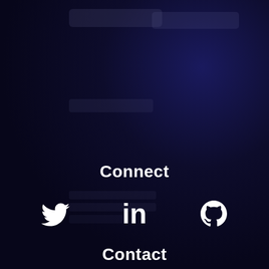[Figure (illustration): Dark navy/indigo gradient background with faint decorative rectangular blobs in upper-left and upper-right areas]
Connect
[Figure (illustration): Three social media icons in white: Twitter bird icon, LinkedIn 'in' icon, and GitHub Octocat icon, displayed horizontally centered]
Contact